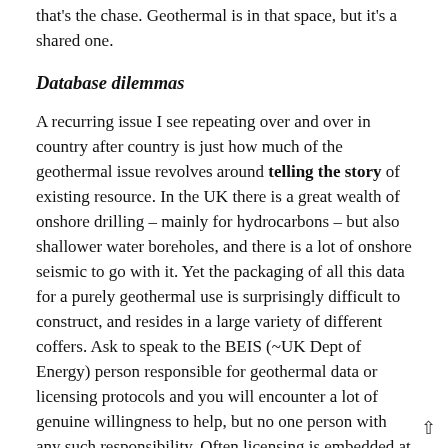that's the chase. Geothermal is in that space, but it's a shared one.
Database dilemmas
A recurring issue I see repeating over and over in country after country is just how much of the geothermal issue revolves around telling the story of existing resource. In the UK there is a great wealth of onshore drilling – mainly for hydrocarbons – but also shallower water boreholes, and there is a lot of onshore seismic to go with it. Yet the packaging of all this data for a purely geothermal use is surprisingly difficult to construct, and resides in a large variety of different coffers. Ask to speak to the BEIS (~UK Dept of Energy) person responsible for geothermal data or licensing protocols and you will encounter a lot of genuine willingness to help, but no one person with any such responsibility. Often licensing is embedded at more local government levels.